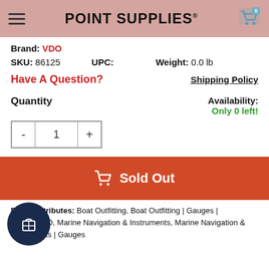POINT SUPPLIES®
Brand: VDO
SKU: 86125   UPC:   Weight: 0.0 lb
Have A Question?
Shipping Policy
Quantity
Availability: Only 0 left!
Sold Out
Product Attributes: Boat Outfitting, Boat Outfitting | Gauges | Brand_VDO, Marine Navigation & Instruments, Marine Navigation & Instruments | Gauges